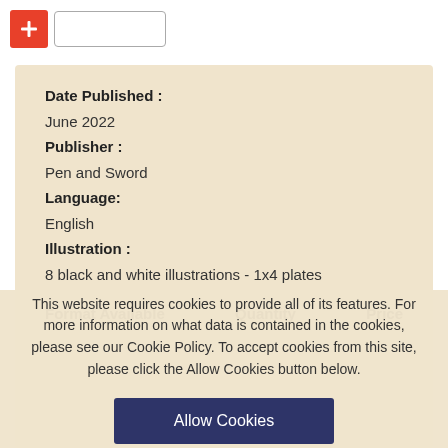[Figure (other): Red plus button and empty input box in top bar]
Date Published :
June 2022
Publisher :
Pen and Sword
Language:
English
Illustration :
8 black and white illustrations - 1x4 plates
Format Available    Quantity    Price
This website requires cookies to provide all of its features. For more information on what data is contained in the cookies, please see our Cookie Policy. To accept cookies from this site, please click the Allow Cookies button below.
Allow Cookies